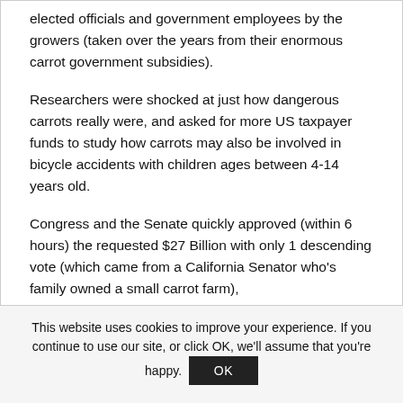elected officials and government employees by the growers (taken over the years from their enormous carrot government subsidies).
Researchers were shocked at just how dangerous carrots really were, and asked for more US taxpayer funds to study how carrots may also be involved in bicycle accidents with children ages between 4-14 years old.
Congress and the Senate quickly approved (within 6 hours) the requested $27 Billion with only 1 descending vote (which came from a California Senator who's family owned a small carrot farm),
This website uses cookies to improve your experience. If you continue to use our site, or click OK, we'll assume that you're happy. OK